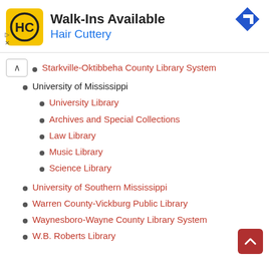[Figure (infographic): Hair Cuttery advertisement banner with yellow logo, 'Walk-Ins Available' headline, blue 'Hair Cuttery' subtitle, navigation arrow icon, and ad indicator symbols]
Starkville-Oktibbeha County Library System
University of Mississippi
University Library
Archives and Special Collections
Law Library
Music Library
Science Library
University of Southern Mississippi
Warren County-Vickburg Public Library
Waynesboro-Wayne County Library System
W.B. Roberts Library